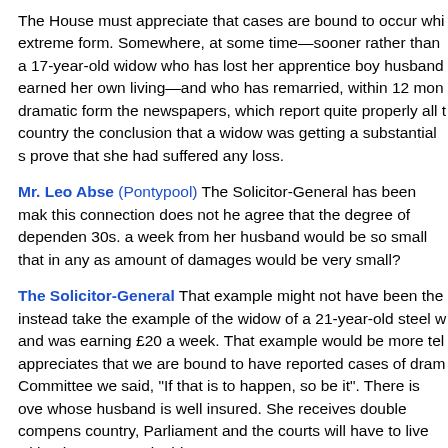The House must appreciate that cases are bound to occur whi extreme form. Somewhere, at some time—sooner rather than a 17-year-old widow who has lost her apprentice boy husband earned her own living—and who has remarried, within 12 mon dramatic form the newspapers, which report quite properly all t country the conclusion that a widow was getting a substantial s prove that she had suffered any loss.
Mr. Leo Abse (Pontypool) The Solicitor-General has been mak this connection does not he agree that the degree of dependen 30s. a week from her husband would be so small that in any as amount of damages would be very small?
The Solicitor-General That example might not have been the instead take the example of the widow of a 21-year-old steel w and was earning £20 a week. That example would be more tel appreciates that we are bound to have reported cases of dram Committee we said, "If that is to happen, so be it". There is ove whose husband is well insured. She receives double compens country, Parliament and the courts will have to live with. I hope House in this matter.